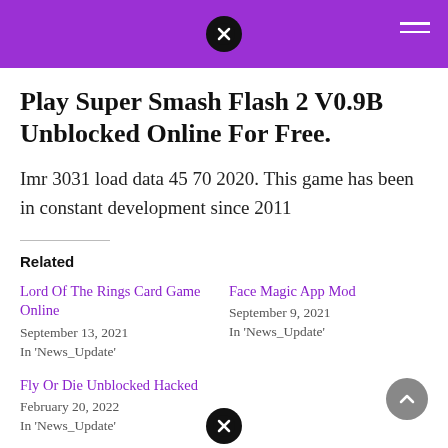Header bar with close icon and hamburger menu
Play Super Smash Flash 2 V0.9B Unblocked Online For Free.
Imr 3031 load data 45 70 2020. This game has been in constant development since 2011
Related
Lord Of The Rings Card Game Online
September 13, 2021
In 'News_Update'
Face Magic App Mod
September 9, 2021
In 'News_Update'
Fly Or Die Unblocked Hacked
February 20, 2022
In 'News_Update'